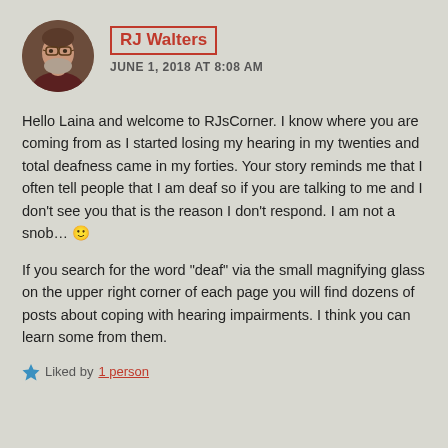[Figure (photo): Circular avatar photo of RJ Walters, an older man with gray beard, wearing a dark red/maroon shirt]
RJ Walters
JUNE 1, 2018 AT 8:08 AM
Hello Laina and welcome to RJsCorner. I know where you are coming from as I started losing my hearing in my twenties and total deafness came in my forties. Your story reminds me that I often tell people that I am deaf so if you are talking to me and I don't see you that is the reason I don't respond. I am not a snob… 🙂
If you search for the word "deaf" via the small magnifying glass on the upper right corner of each page you will find dozens of posts about coping with hearing impairments. I think you can learn some from them.
★ Liked by 1 person